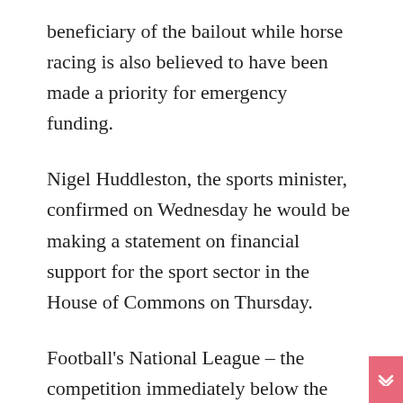beneficiary of the bailout while horse racing is also believed to have been made a priority for emergency funding.
Nigel Huddleston, the sports minister, confirmed on Wednesday he would be making a statement on financial support for the sport sector in the House of Commons on Thursday.
Football's National League – the competition immediately below the EFL – has already received support to enable it to begin its 2020-21 season. The Women's Super League is also likely to benefit from Thursday's announcement along with rugby league, basketball and netball.